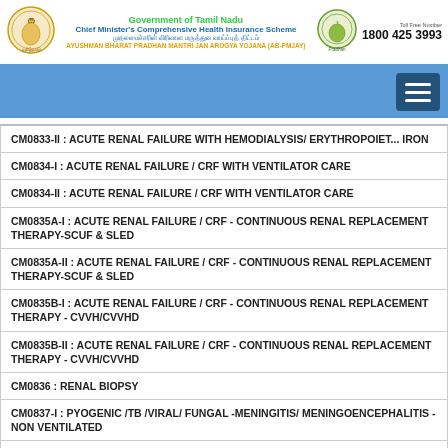Government of Tamil Nadu - Chief Minister's Comprehensive Health Insurance Scheme - AYUSHMAN BHARAT PRADHAN MANTRI JAN AROGYA YOJANA (AB-PMJAY) - Toll Free Number: 1800 425 3993
CM0833-II : ACUTE RENAL FAILURE WITH HEMODIALYSIS/ ERYTHROPOIET... IRON
CM0834-I : ACUTE RENAL FAILURE / CRF WITH VENTILATOR CARE
CM0834-II : ACUTE RENAL FAILURE / CRF WITH VENTILATOR CARE
CM0835A-I : ACUTE RENAL FAILURE / CRF - CONTINUOUS RENAL REPLACEMENT THERAPY-SCUF & SLED
CM0835A-II : ACUTE RENAL FAILURE / CRF - CONTINUOUS RENAL REPLACEMENT THERAPY-SCUF & SLED
CM0835B-I : ACUTE RENAL FAILURE / CRF - CONTINUOUS RENAL REPLACEMENT THERAPY - CVVH/CVVHD
CM0835B-II : ACUTE RENAL FAILURE / CRF - CONTINUOUS RENAL REPLACEMENT THERAPY - CVVH/CVVHD
CM0836 : RENAL BIOPSY
CM0837-I : PYOGENIC /TB /VIRAL/ FUNGAL -MENINGITIS/ MENINGOENCEPHALITIS - NON VENTILATED
CM0837-II : PYOGENIC /TB /VIRAL/ FUNGAL -MENINGITIS/...